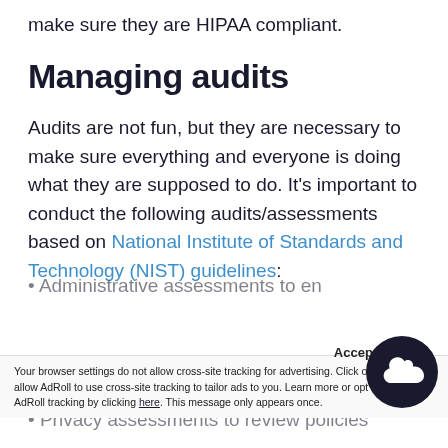make sure they are HIPAA compliant.
Managing audits
Audits are not fun, but they are necessary to make sure everything and everyone is doing what they are supposed to do. It's important to conduct the following audits/assessments based on National Institute of Standards and Technology (NIST) guidelines:
Administrative assessments to en…
Privacy assessments to review policies…